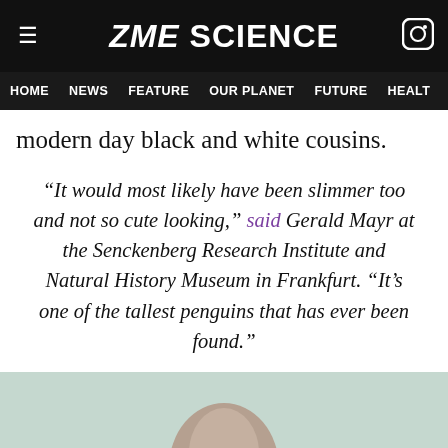ZME SCIENCE
HOME  NEWS  FEATURE  OUR PLANET  FUTURE  HEALT
modern day black and white cousins.
“It would most likely have been slimmer too and not so cute looking,” said Gerald Mayr at the Senckenberg Research Institute and Natural History Museum in Frankfurt. “It’s one of the tallest penguins that has ever been found.”
[Figure (illustration): Large purple opening double-quotation mark icon centered on page]
[Figure (photo): Cropped top of a photograph showing a penguin or animal head against a light mint/teal background, visible at the bottom of the page]